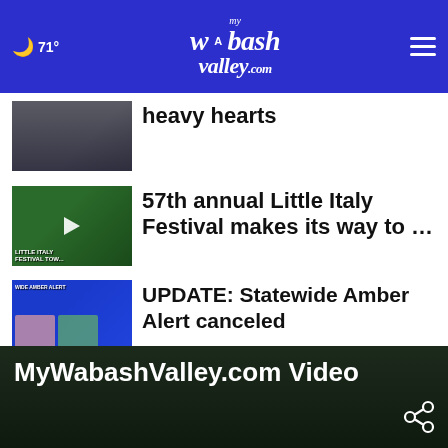71° | MyWabashValley.com
heavy hearts
57th annual Little Italy Festival makes its way to …
UPDATE: Statewide Amber Alert canceled
More Stories ›
MyWabashValley.com Video